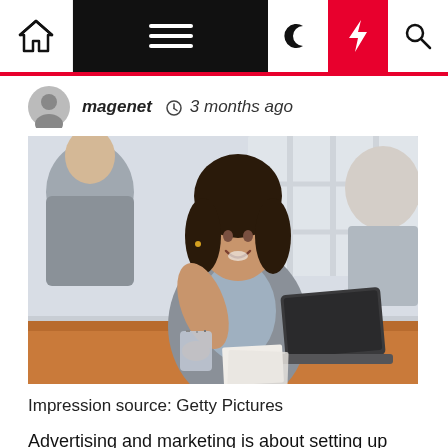Navigation bar with home, menu, moon, flash, and search icons
magenet  3 months ago
[Figure (photo): A smiling businesswoman in a gray blazer sitting at a meeting table with a laptop, gesturing toward two other people seated across from her. A pen holder and papers are on the table.]
Impression source: Getty Pictures
Advertising and marketing is about setting up awareness of your solution and creating